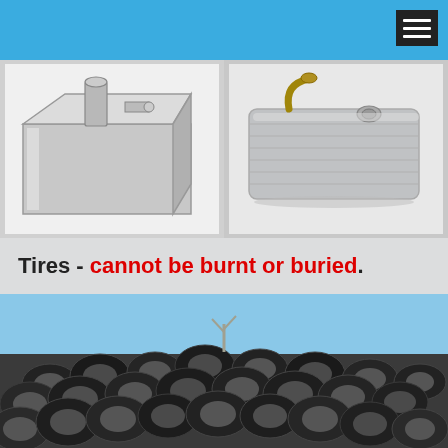[Figure (photo): Two photos of metal fuel tanks side by side: left shows a rectangular stainless steel fuel tank with a fill pipe on top; right shows an older corrugated metal automobile fuel tank with a metal filler neck.]
Tires - cannot be burnt or buried.
[Figure (photo): Large pile of discarded used tires stacked outdoors against a blue sky background.]